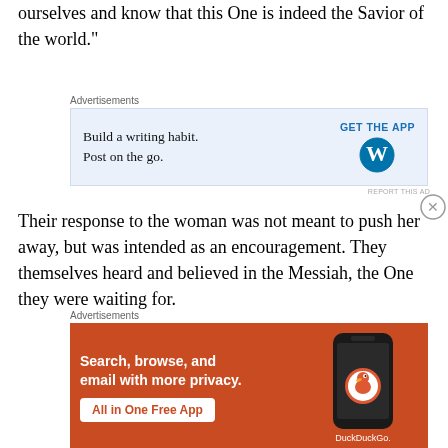ourselves and know that this One is indeed the Savior of the world."
[Figure (other): Advertisement banner for WordPress app: 'Build a writing habit. Post on the go.' with GET THE APP link and WordPress logo]
Their response to the woman was not meant to push her away, but was intended as an encouragement. They themselves heard and believed in the Messiah, the One they were waiting for.
[Figure (other): Advertisement banner for DuckDuckGo: 'Search, browse, and email with more privacy. All in One Free App' on orange background with phone image]